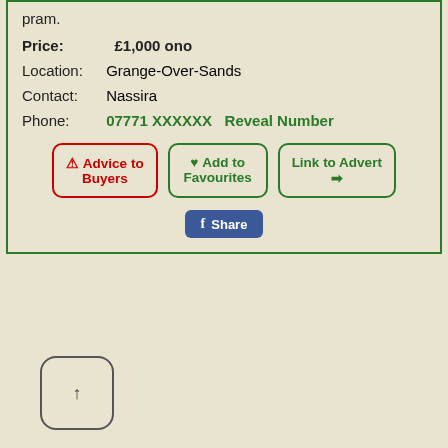pram.
Price: £1,000 ono
Location: Grange-Over-Sands
Contact: Nassira
Phone: 07771 XXXXXX  Reveal Number
⚠ Advice to Buyers | ♥ Add to Favourites | Link to Advert ➔
Share